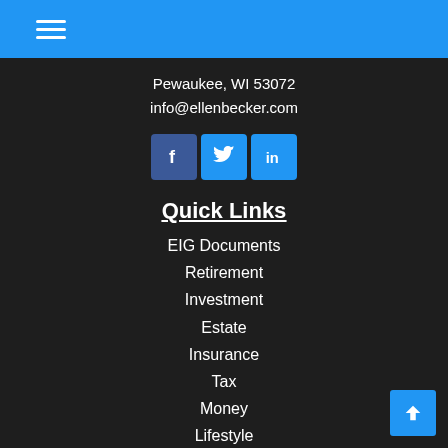Navigation menu header bar with hamburger icon
Pewaukee, WI 53072
info@ellenbecker.com
[Figure (other): Social media icons: Facebook, Twitter, LinkedIn]
Quick Links
EIG Documents
Retirement
Investment
Estate
Insurance
Tax
Money
Lifestyle
All Articles
All Videos
All Calculators
All Presentations